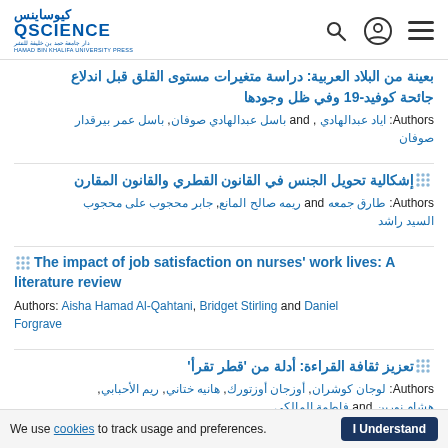كيوساينس QSCIENCE
بعينة من البلاد العربية: دراسة متغيرات مستوى القلق قبل اندلاع جائحة كوفيد-19 وفي ظل وجودها
Authors: اياد عبدالهادي , and باسل عبدالهادي صوفان, باسل عمر بيرقدار صوفان
إشكالية تحويل الجنس في القانون القطري والقانون المقارن
Authors: طارق جمعه and ريمه صالح المانع, جابر محجوب على محجوب السيد راشد
The impact of job satisfaction on nurses' work lives: A literature review
Authors: Aisha Hamad Al-Qahtani, Bridget Stirling and Daniel Forgrave
تعزيز ثقافة القراءة: أدلة من 'قطر تقرأ'
Authors: لوجان كوشران, أوزجان أوزتورك, هانيه ختاني, ريم الأحبابي, هشام نورين and فاطمة المالكي
We use cookies to track usage and preferences. I Understand